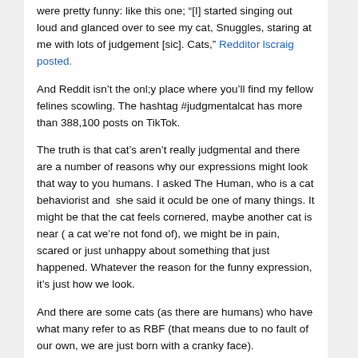were pretty funny: like this one; “[I] started singing out loud and glanced over to see my cat, Snuggles, staring at me with lots of judgement [sic]. Cats,” Redditor lscraig posted.
And Reddit isn’t the onl;y place where you’ll find my fellow felines scowling. The hashtag #judgmentalcat has more than 388,100 posts on TikTok.
The truth is that cat’s aren’t really judgmental and there are a number of reasons why our expressions might look that way to you humans. I asked The Human, who is a cat behaviorist and  she said it oculd be one of many things. It might be that the cat feels cornered, maybe another cat is near ( a cat we’re not fond of), we might be in pain, scared or just unhappy about something that just happened. Whatever the reason for the funny expression, it’s just how we look.
And there are some cats (as there are humans) who have what many refer to as RBF (that means due to no fault of our own, we are just born with a cranky face).